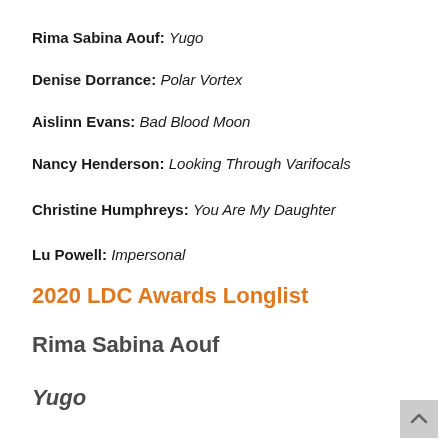Rima Sabina Aouf: Yugo
Denise Dorrance: Polar Vortex
Aislinn Evans: Bad Blood Moon
Nancy Henderson: Looking Through Varifocals
Christine Humphreys: You Are My Daughter
Lu Powell: Impersonal
2020 LDC Awards Longlist
Rima Sabina Aouf
Yugo